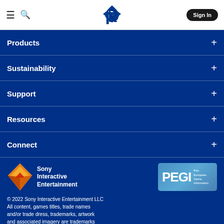PlayStation navigation header with hamburger menu, search icon, PlayStation logo, and Sign In button
Products +
Sustainability +
Support +
Resources +
Connect +
[Figure (logo): Sony Interactive Entertainment diamond logo with gold/orange gradient]
Sony Interactive Entertainment
[Figure (logo): PEGI - Pan European Game Information logo badge]
© 2022 Sony Interactive Entertainment LLC All content, games titles, trade names and/or trade dress, trademarks, artwork and associated imagery are trademarks and/or copyright material of their respective owners. All rights